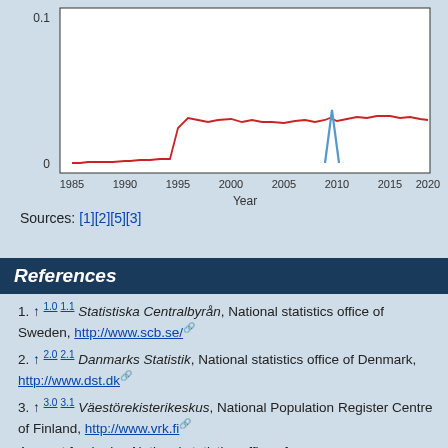[Figure (line-chart): Line chart showing data from 1985 to 2020. Red line rises from near 0 around 1985-1990, increases to about 0.03-0.04 range from 1995 to 2018. Blue spike visible around 2009-2010. Y-axis shows 0 and 0.1.]
Sources: [1][2][5][3]
References
1. ↑ 1.0 1.1 Statistiska Centralbyrån, National statistics office of Sweden, http://www.scb.se/
2. ↑ 2.0 2.1 Danmarks Statistik, National statistics office of Denmark, http://www.dst.dk
3. ↑ 3.0 3.1 Väestörekisterikeskus, National Population Register Centre of Finland, http://www.vrk.fi
4. ↑ ...st fo...l...d..., National statistics office of...